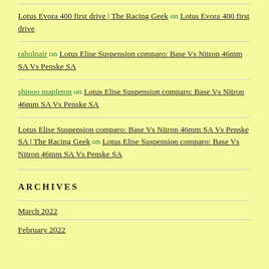Lotus Evora 400 first drive | The Racing Geek on Lotus Evora 400 first drive
rahulnair on Lotus Elise Suspension comparo: Base Vs Nitron 46mm SA Vs Penske SA
shinoo mapleton on Lotus Elise Suspension comparo: Base Vs Nitron 46mm SA Vs Penske SA
Lotus Elise Suspension comparo: Base Vs Nitron 46mm SA Vs Penske SA | The Racing Geek on Lotus Elise Suspension comparo: Base Vs Nitron 46mm SA Vs Penske SA
ARCHIVES
March 2022
February 2022